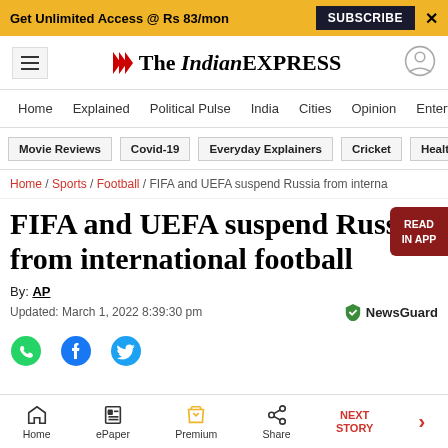Get Unlimited Access @ Rs 83/mon   SUBSCRIBE   X
The Indian EXPRESS
Home / Explained / Political Pulse / India / Cities / Opinion / Entertainment
Movie Reviews | Covid-19 | Everyday Explainers | Cricket | Health
Home / Sports / Football / FIFA and UEFA suspend Russia from interna
FIFA and UEFA suspend Russia from international football
By: AP
Updated: March 1, 2022 8:39:30 pm
Home | ePaper | Premium | Share | NEXT STORY